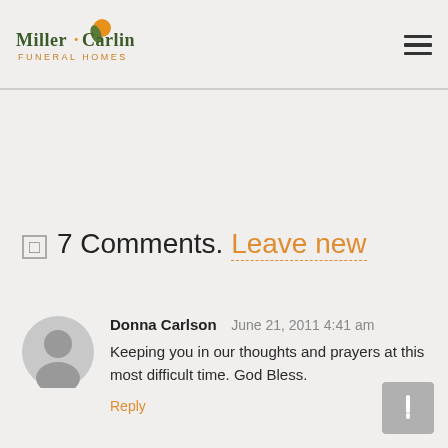Miller-Carlin Funeral Homes
7 Comments. Leave new
Donna Carlson  June 21, 2011 4:41 am
Keeping you in our thoughts and prayers at this most difficult time. God Bless.
Reply